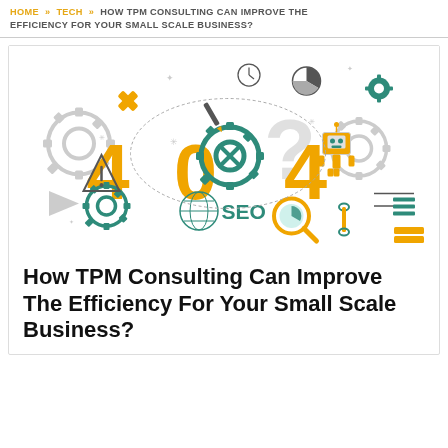HOME » TECH » HOW TPM CONSULTING CAN IMPROVE THE EFFICIENCY FOR YOUR SMALL SCALE BUSINESS?
[Figure (illustration): Flat design tech/SEO illustration featuring '404' text made of gears and mechanical parts, with icons including a robot, globe, magnifying glass, pie chart, tools, gears, arrows, and the word 'SEO' — colorful yellow, teal, and grey palette on white background.]
How TPM Consulting Can Improve The Efficiency For Your Small Scale Business?